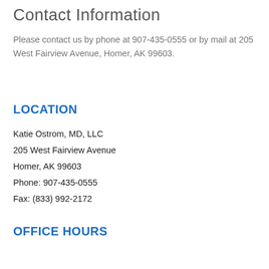Contact Information
Please contact us by phone at 907-435-0555 or by mail at 205 West Fairview Avenue, Homer, AK 99603.
LOCATION
Katie Ostrom, MD, LLC
205 West Fairview Avenue
Homer, AK 99603
Phone: 907-435-0555
Fax: (833) 992-2172
OFFICE HOURS